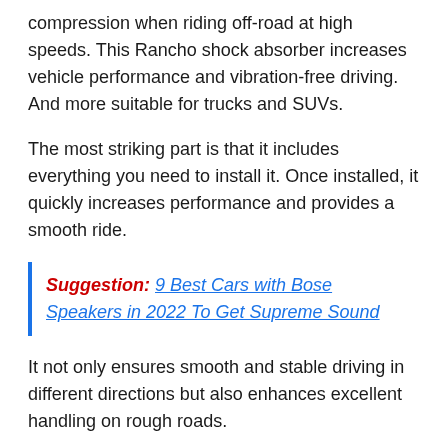compression when riding off-road at high speeds. This Rancho shock absorber increases vehicle performance and vibration-free driving. And more suitable for trucks and SUVs.
The most striking part is that it includes everything you need to install it. Once installed, it quickly increases performance and provides a smooth ride.
Suggestion: 9 Best Cars with Bose Speakers in 2022 To Get Supreme Sound
It not only ensures smooth and stable driving in different directions but also enhances excellent handling on rough roads.
In general, this product will cost you more, but it will give you good value for money and long life.